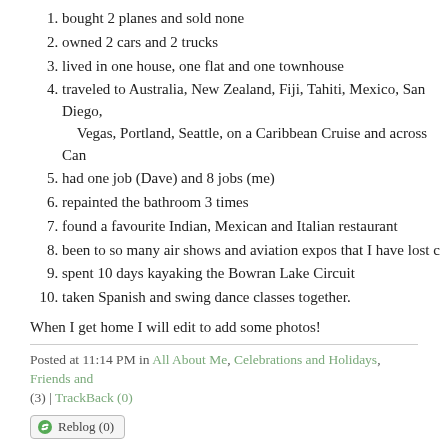bought 2 planes and sold none
owned 2 cars and 2 trucks
lived in one house, one flat and one townhouse
traveled to Australia, New Zealand, Fiji, Tahiti, Mexico, San Diego, Vegas, Portland, Seattle, on a Caribbean Cruise and across Can
had one job (Dave) and 8 jobs (me)
repainted the bathroom 3 times
found a favourite Indian, Mexican and Italian restaurant
been to so many air shows and aviation expos that I have lost c
spent 10 days kayaking the Bowran Lake Circuit
taken Spanish and swing dance classes together.
When I get home I will edit to add some photos!
Posted at 11:14 PM in All About Me, Celebrations and Holidays, Friends and (3) | TrackBack (0)
Happy 2nd Birthday To The Miga, Quatchi, And Sumi
November 27th, 2007 the Vancouver 2010 mascots were revealed at in Surrey in front of an audience of 800 school children.